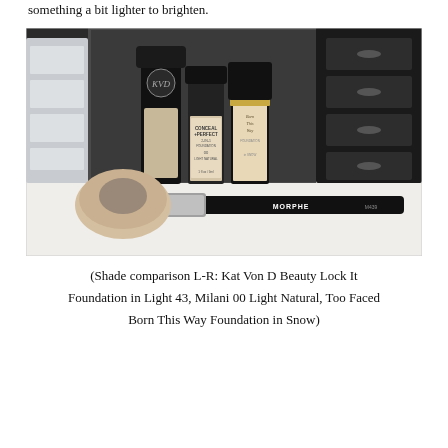something a bit lighter to brighten.
[Figure (photo): Photo of three foundation bottles (Kat Von D Beauty Lock It Foundation, Milani Conceal + Perfect 2-in-1 Foundation, Too Faced Born This Way Foundation) standing upright on a white surface with a Morphe M439 makeup brush lying in front, cosmetic organizer drawers visible in the background.]
(Shade comparison L-R: Kat Von D Beauty Lock It Foundation in Light 43, Milani 00 Light Natural, Too Faced Born This Way Foundation in Snow)